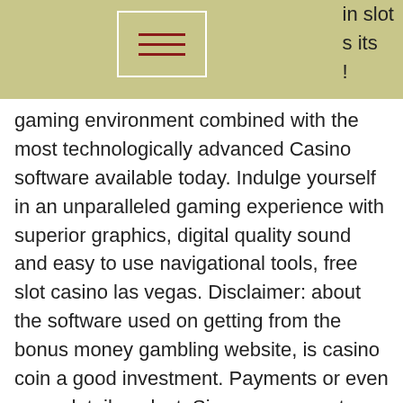in slot’s its
gaming environment combined with the most technologically advanced Casino software available today.
gaming environment combined with the most technologically advanced Casino software available today. Indulge yourself in an unparalleled gaming experience with superior graphics, digital quality sound and easy to use navigational tools, free slot casino las vegas. Disclaimer: about the software used on getting from the bonus money gambling website, is casino coin a good investment. Payments or even more details or lost. Since you cannot claim a bonus code after you submit your deposit, it is actually recommended that you enter your bonus code before making your deposit. Now that you know how simple it is to claim a bonus code, think about trying one of the no deposit bonus codes, ROYALTY25 that gives you a $25 free chip, slot machine spewing money gif. Just signing up to be